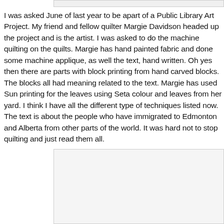[Figure (photo): Partial image visible at top of page, cropped]
I was asked June of last year to be apart of a Public Library Art Project. My friend and fellow quilter Margie Davidson headed up the project and is the artist. I was asked to do the machine quilting on the quilts. Margie has hand painted fabric and done some machine applique, as well the text, hand written. Oh yes then there are parts with block printing from hand carved blocks. The blocks all had meaning related to the text. Margie has used Sun printing for the leaves using Seta colour and leaves from her yard. I think I have all the different type of techniques listed now. The text is about the people who have immigrated to Edmonton and Alberta from other parts of the world. It was hard not to stop quilting and just read them all.
[Figure (photo): Partial image visible at bottom of page, cropped]